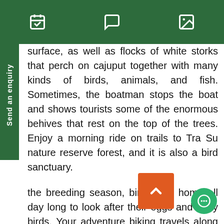[navigation icons: calendar, chat, image]
surface, as well as flocks of white storks that perch on cajuput together with many kinds of birds, animals, and fish. Sometimes, the boatman stops the boat and shows tourists some of the enormous behives that rest on the top of the trees. Enjoy a morning ride on trails to Tra Su nature reserve forest, and it is also a bird sanctuary.
the breeding season, birds stay home all day long to look after their eggs and baby birds. Your adventure biking travels along the Cambodia border, passing lotus fields, rice paddy. After we arrive at the forest, enjoy 2 hours boat trip, including sampan boat rowing this forest. You will experience boat rowing, trekking into cajuput trees, wetlands that